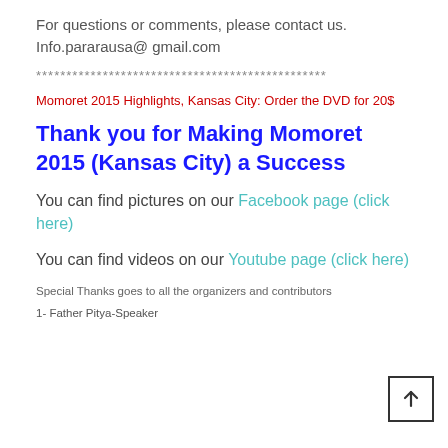For questions or comments, please contact us. Info.pararausa@ gmail.com
************************************************
Momoret 2015 Highlights, Kansas City: Order the DVD for 20$
Thank you for Making Momoret 2015 (Kansas City) a Success
You can find pictures on our Facebook page (click here)
You can find videos on our Youtube page (click here)
Special Thanks goes to all the organizers and contributors
1- Father Pitya-Speaker